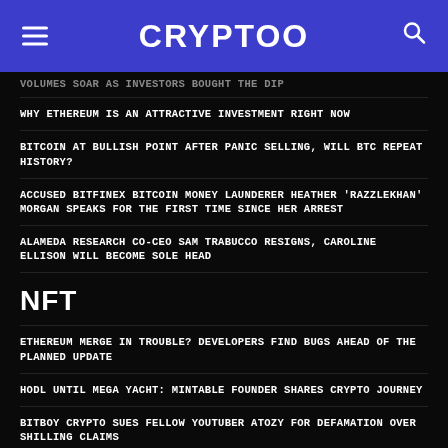CRYPTOO
VOLUMES SOAR AS INVESTORS BOUGHT THE DIP
WHY ETHEREUM IS AN ATTRACTIVE INVESTMENT RIGHT NOW
BITCOIN AT BULLISH POINT AFTER PANIC SELLING, WILL BTC REPEAT HISTORY?
ACCUSED BITFINEX BITCOIN MONEY LAUNDERER HEATHER 'RAZZLEKHAN' MORGAN SPEAKS FOR THE FIRST TIME SINCE HER ARREST
ALAMEDA RESEARCH CO-CEO SAM TRABUCCO RESIGNS, CAROLINE ELLISON WILL BECOME SOLE HEAD
NFT
ETHEREUM MERGE IN TROUBLE? DEVELOPERS FIND BUGS AHEAD OF THE PLANNED UPDATE
HODL UNTIL MEGA YACHT: MINTABLE FOUNDER SHARES CRYPTO JOURNEY
BITBOY CRYPTO SUES FELLOW YOUTUBER ATOZY FOR DEFAMATION OVER SHILLING CLAIMS
A BULLISH BITCOIN TREND REVERSAL IS A FAR-FETCHED IDEA, BUT THIS METRIC IS SCREAMING 'BUY'